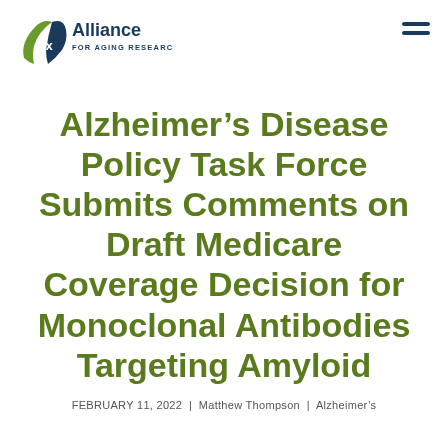[Figure (logo): Alliance for Aging Research logo with stylized A/Rx symbol in green and blue, text 'Alliance FOR AGING RESEARCH' in dark blue]
Alzheimer’s Disease Policy Task Force Submits Comments on Draft Medicare Coverage Decision for Monoclonal Antibodies Targeting Amyloid
FEBRUARY 11, 2022 | Matthew Thompson | Alzheimer’s